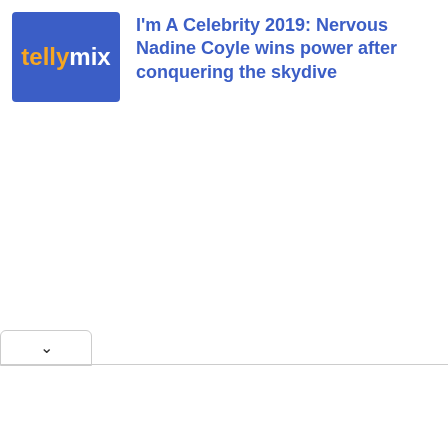[Figure (logo): Tellymix logo: blue rounded rectangle background with 'telly' in orange and 'mix' in white bold text]
I'm A Celebrity 2019: Nervous Nadine Coyle wins power after conquering the skydive